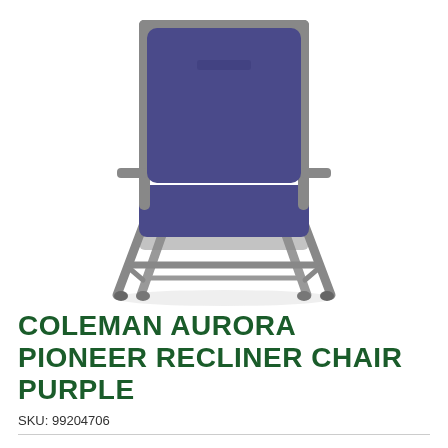[Figure (photo): Coleman Aurora Pioneer Recliner Chair in purple color with grey metal folding frame, shown from a low angle against white background]
COLEMAN AURORA PIONEER RECLINER CHAIR PURPLE
SKU: 99204706
$199.99   4 x $50.00 with Zip